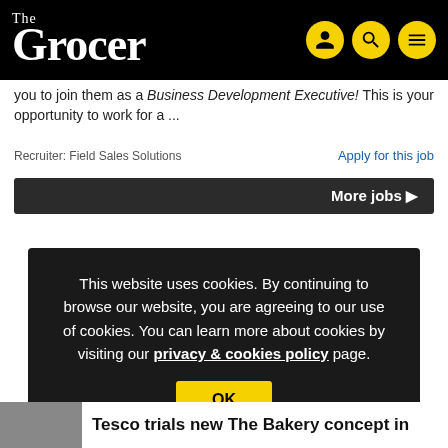The Grocer
you to join them as a Business Development Executive! This is your opportunity to work for a ...
Recruiter: Field Sales Solutions    Apply for this job
More jobs ▶
This website uses cookies. By continuing to browse our website, you are agreeing to our use of cookies. You can learn more about cookies by visiting our privacy & cookies policy page.
OK
Tesco trials new The Bakery concept in